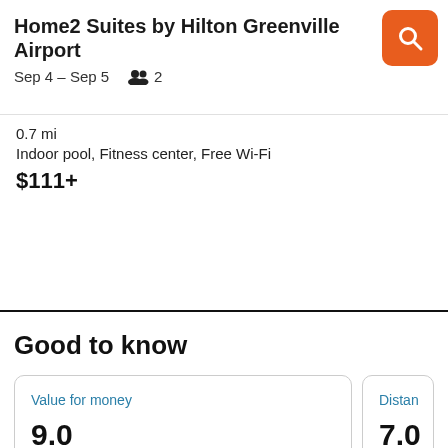Home2 Suites by Hilton Greenville Airport
Sep 4 – Sep 5   2
0.7 mi
Indoor pool, Fitness center, Free Wi-Fi
$111+
Good to know
| Value for money | Distan |
| --- | --- |
| 9.0 | 7.0 |